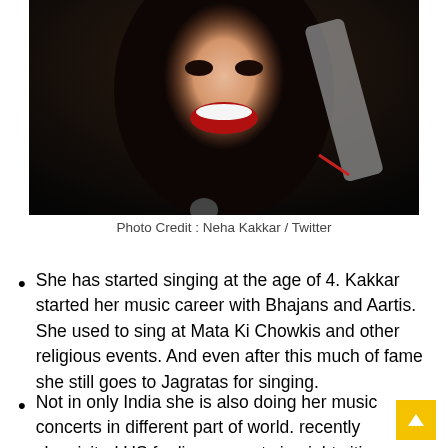[Figure (photo): A woman with long dark hair and red lipstick laughing/smiling, holding a microphone, photographed against a dark background.]
Photo Credit : Neha Kakkar / Twitter
She has started singing at the age of 4. Kakkar started her music career with Bhajans and Aartis. She used to sing at Mata Ki Chowkis and other religious events. And even after this much of fame she still goes to Jagratas for singing.
Not in only India she is also doing her music concerts in different part of world. recently she visited US for live concerts in eight cities